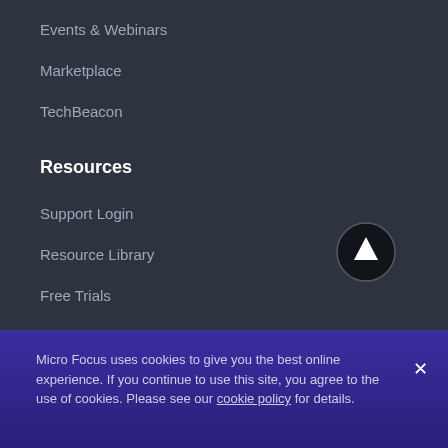Events & Webinars
Marketplace
TechBeacon
Resources
Support Login
Resource Library
Free Trials
Community
Company
About
Micro Focus uses cookies to give you the best online experience. If you continue to use this site, you agree to the use of cookies. Please see our cookie policy for details.